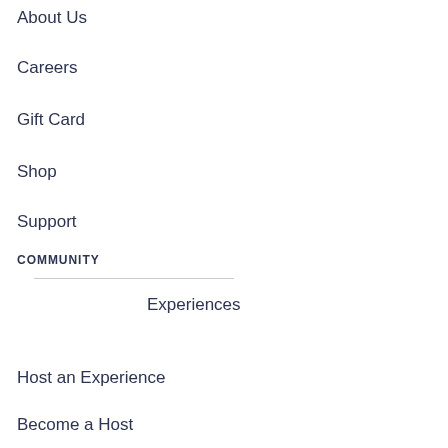About Us
Careers
Gift Card
Shop
Support
COMMUNITY
Experiences
[Figure (illustration): Chat bubble icon in a white circle]
Host an Experience
Become a Host